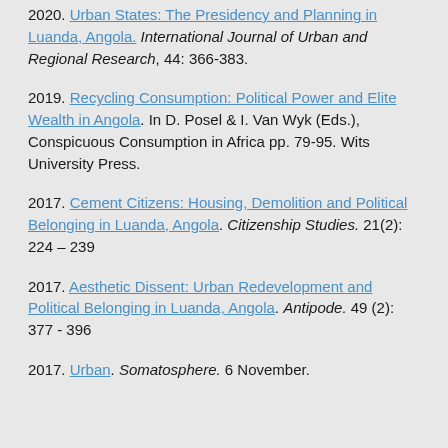2020. Urban States: The Presidency and Planning in Luanda, Angola. International Journal of Urban and Regional Research, 44: 366-383.
2019. Recycling Consumption: Political Power and Elite Wealth in Angola. In D. Posel & I. Van Wyk (Eds.), Conspicuous Consumption in Africa pp. 79-95. Wits University Press.
2017. Cement Citizens: Housing, Demolition and Political Belonging in Luanda, Angola. Citizenship Studies. 21(2): 224 – 239
2017. Aesthetic Dissent: Urban Redevelopment and Political Belonging in Luanda, Angola. Antipode. 49 (2): 377 - 396
2017. Urban. Somatosphere. 6 November.